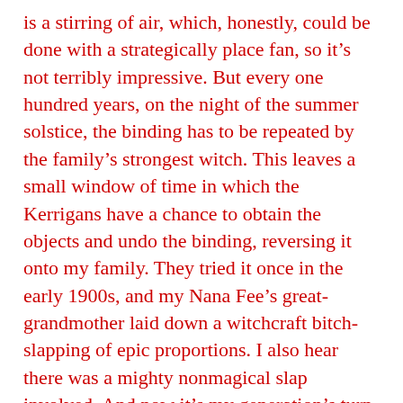is a stirring of air, which, honestly, could be done with a strategically place fan, so it’s not terribly impressive. But every one hundred years, on the night of the summer solstice, the binding has to be repeated by the family’s strongest witch. This leaves a small window of time in which the Kerrigans have a chance to obtain the objects and undo the binding, reversing it onto my family. They tried it once in the early 1900s, and my Nana Fee’s great-grandmother laid down a witchcraft bitch-slapping of epic proportions. I also hear there was a mighty nonmagical slap involved. And now it’s my generation’s turn, and by some bizarre accident of birth, the so-called strongest witch in my family happens to be sitting here in front of you.”
A Cheshire cat’s smile split Jane’s face. Andrea held up her hand and said, “No!”